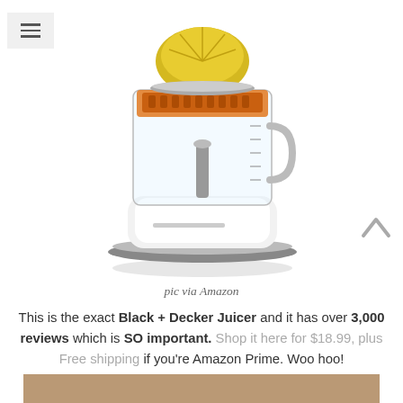[Figure (photo): Black + Decker citrus juicer with clear plastic body, orange strainer tray, yellow juicer cone, and white base with gray trim. Menu/hamburger icon in top-left corner.]
pic via Amazon
This is the exact Black + Decker Juicer and it has over 3,000 reviews which is SO important. Shop it here for $18.99, plus Free shipping if you're Amazon Prime. Woo hoo!
[Figure (photo): Partial image of a person at the bottom of the page, cropped.]